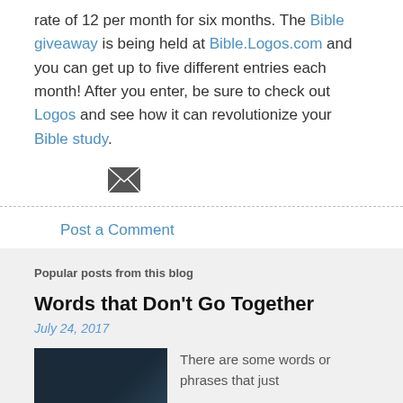rate of 12 per month for six months. The Bible giveaway is being held at Bible.Logos.com and you can get up to five different entries each month! After you enter, be sure to check out Logos and see how it can revolutionize your Bible study.
[Figure (illustration): Email/envelope icon (dark grey)]
Post a Comment
Popular posts from this blog
Words that Don't Go Together
July 24, 2017
[Figure (photo): Dark thumbnail image of a book or manuscript]
There are some words or phrases that just